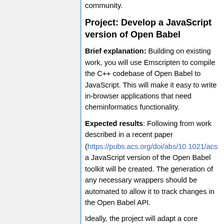community.
Project: Develop a JavaScript version of Open Babel
Brief explanation: Building on existing work, you will use Emscripten to compile the C++ codebase of Open Babel to JavaScript. This will make it easy to write in-browser applications that need cheminformatics functionality.
Expected results: Following from work described in a recent paper (https://pubs.acs.org/doi/abs/10.1021/acs.jcim.7b00434), a JavaScript version of the Open Babel toolkit will be created. The generation of any necessary wrappers should be automated to allow it to track changes in the Open Babel API.
Ideally, the project will adapt a core